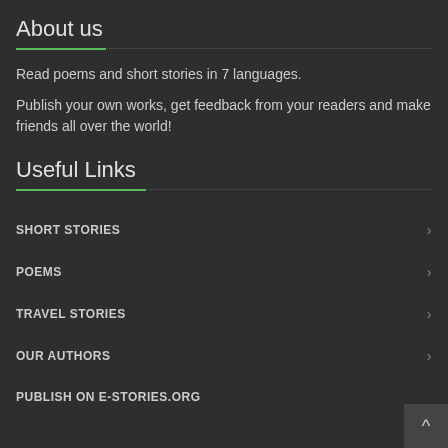About us
Read poems and short stories in 7 languages.
Publish your own works, get feedback from your readers and make friends all over the world!
Useful Links
SHORT STORIES
POEMS
TRAVEL STORIES
OUR AUTHORS
PUBLISH ON E-STORIES.ORG